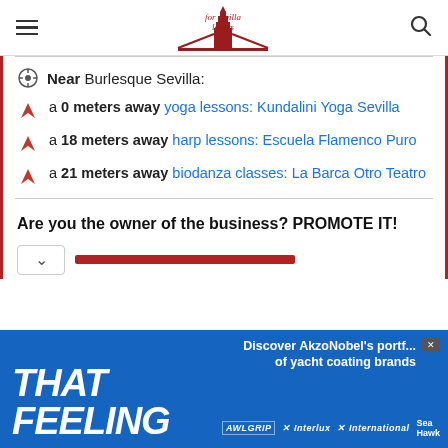for sevilla lovers (logo)
Near Burlesque Sevilla:
a 0 meters away yoga lessons: Kundalini Yoga Sevilla
a 18 meters away harp lessons: Escuela Flamenco Puro
a 21 meters away biodanza classes: La Barca Otro Teatro
Are you the owner of the business? PROMOTE IT!
[Figure (infographic): AkzoNobel yacht coating brands advertisement banner reading THAT FEELING with brand logos: Awlgrip, Interlux, International, Sea Hawk]